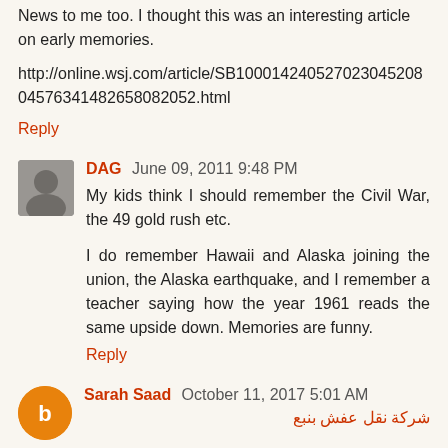News to me too. I thought this was an interesting article on early memories.
http://online.wsj.com/article/SB10001424052702304520804576341482658082052.html
Reply
DAG  June 09, 2011 9:48 PM
My kids think I should remember the Civil War, the 49 gold rush etc.
I do remember Hawaii and Alaska joining the union, the Alaska earthquake, and I remember a teacher saying how the year 1961 reads the same upside down. Memories are funny.
Reply
Sarah Saad  October 11, 2017 5:01 AM
شركة نقل عفش بنبع